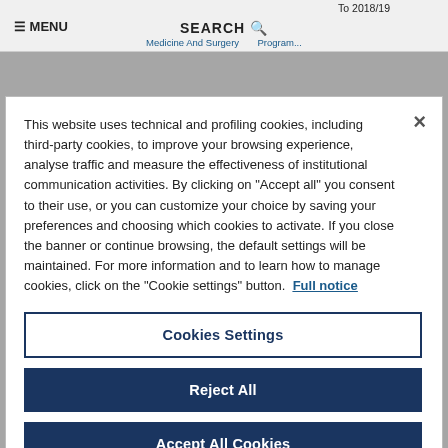To 2018/19
≡ MENU   SEARCH 🔍
Medicine And Surgery   Program...
This website uses technical and profiling cookies, including third-party cookies, to improve your browsing experience, analyse traffic and measure the effectiveness of institutional communication activities. By clicking on "Accept all" you consent to their use, or you can customize your choice by saving your preferences and choosing which cookies to activate. If you close the banner or continue browsing, the default settings will be maintained. For more information and to learn how to manage cookies, click on the "Cookie settings" button.  Full notice
Cookies Settings
Reject All
Accept All Cookies